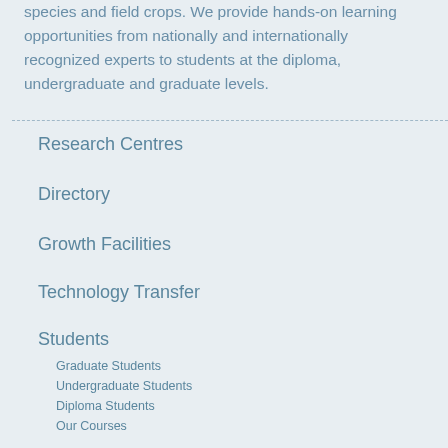species and field crops. We provide hands-on learning opportunities from nationally and internationally recognized experts to students at the diploma, undergraduate and graduate levels.
Research Centres
Directory
Growth Facilities
Technology Transfer
Students
Graduate Students
Undergraduate Students
Diploma Students
Our Courses